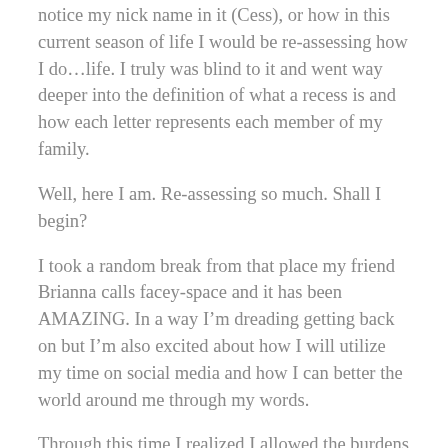notice my nick name in it (Cess), or how in this current season of life I would be re-assessing how I do…life. I truly was blind to it and went way deeper into the definition of what a recess is and how each letter represents each member of my family.
Well, here I am. Re-assessing so much. Shall I begin?
I took a random break from that place my friend Brianna calls facey-space and it has been AMAZING. In a way I'm dreading getting back on but I'm also excited about how I will utilize my time on social media and how I can better the world around me through my words.
Through this time I realized I allowed the burdens of this world to cloud my vision. Now you may be wondering what my vision is. Well…..I envision